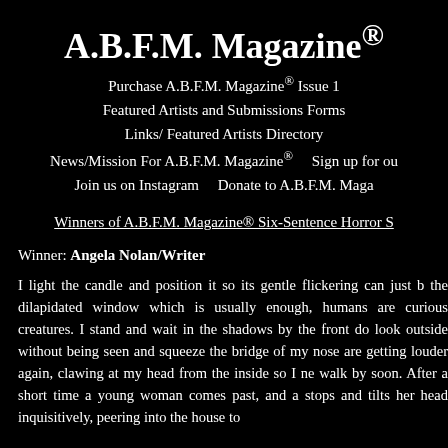A.B.F.M. Magazine®
Purchase A.B.F.M. Magazine® Issue 1
Featured Artists and Submissions Forms
Links/ Featured Artists Directory
News/Mission For A.B.F.M. Magazine®    Sign up for our
Join us on Instagram    Donate to A.B.F.M. Maga
Winners of A.B.F.M. Magazine® Six-Sentence Horror S
Winner: Angela Nolan/Writer
I light the candle and position it so its gentle flickering can just b the dilapidated window which is usually enough, humans are curious creatures. I stand and wait in the shadows by the front do look outside without being seen and squeeze the bridge of my nose are getting louder again, clawing at my head from the inside so I ne walk by soon. After a short time a young woman comes past, and a stops and tilts her head inquisitively, peering into the house to